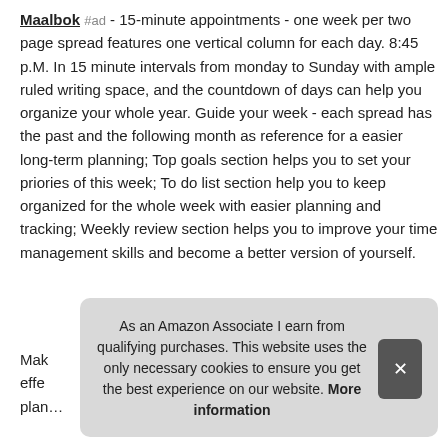Maalbok #ad - 15-minute appointments - one week per two page spread features one vertical column for each day. 8:45 p.M. In 15 minute intervals from monday to Sunday with ample ruled writing space, and the countdown of days can help you organize your whole year. Guide your week - each spread has the past and the following month as reference for a easier long-term planning; Top goals section helps you to set your priories of this week; To do list section help you to keep organized for the whole week with easier planning and tracking; Weekly review section helps you to improve your time management skills and become a better version of yourself.
Mak... effe... plan...
As an Amazon Associate I earn from qualifying purchases. This website uses the only necessary cookies to ensure you get the best experience on our website. More information